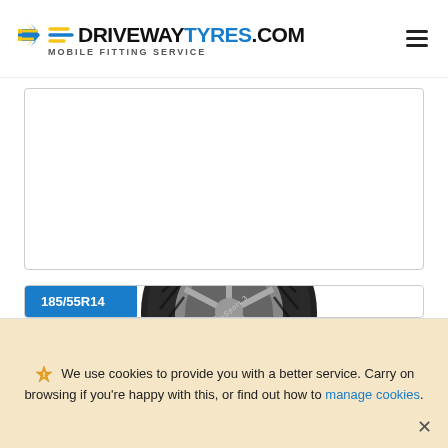DRIVEWAYTYRES.COM MOBILE FITTING SERVICE
[Figure (other): Empty white product card placeholder with border]
[Figure (photo): Tyre product card for 185/55R14 showing a Uniroyal RainSport 3 tyre image. Blue badge label in top-left corner reads 185/55R14. The card shows a close-up photo of a black car tyre.]
We use cookies to provide you with a better service. Carry on browsing if you're happy with this, or find out how to manage cookies.